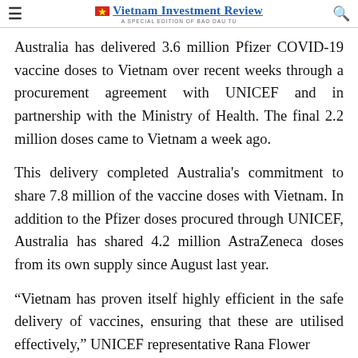Vietnam Investment Review — A Special Edition of Bao Dau Tu
Australia has delivered 3.6 million Pfizer COVID-19 vaccine doses to Vietnam over recent weeks through a procurement agreement with UNICEF and in partnership with the Ministry of Health. The final 2.2 million doses came to Vietnam a week ago.
This delivery completed Australia's commitment to share 7.8 million of the vaccine doses with Vietnam. In addition to the Pfizer doses procured through UNICEF, Australia has shared 4.2 million AstraZeneca doses from its own supply since August last year.
“Vietnam has proven itself highly efficient in the safe delivery of vaccines, ensuring that these are utilised effectively,” UNICEF representative Rana Flower…